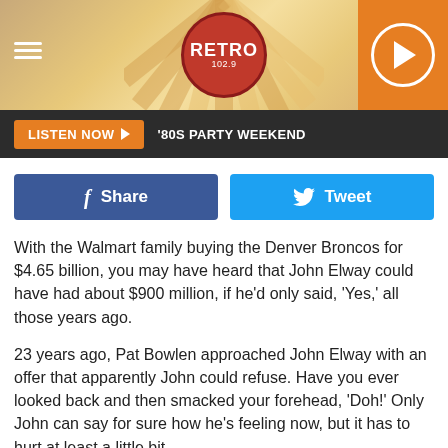[Figure (screenshot): Radio station header banner with sunburst background, RETRO badge in center, hamburger menu on left, orange play button on right]
LISTEN NOW ▶  '80S PARTY WEEKEND
[Figure (screenshot): Facebook Share button (dark blue) and Twitter Tweet button (light blue) side by side]
With the Walmart family buying the Denver Broncos for $4.65 billion, you may have heard that John Elway could have had about $900 million, if he'd only said, 'Yes,' all those years ago.
23 years ago, Pat Bowlen approached John Elway with an offer that apparently John could refuse. Have you ever looked back and then smacked your forehead, 'Doh!' Only John can say for sure how he's feeling now, but it has to hurt at least a little bit.